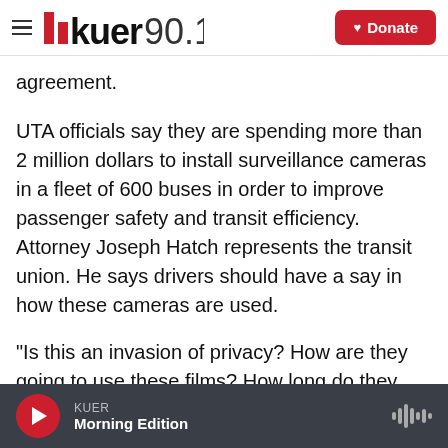KUER 90.1 — Donate
agreement.
UTA officials say they are spending more than 2 million dollars to install surveillance cameras in a fleet of 600 buses in order to improve passenger safety and transit efficiency. Attorney Joseph Hatch represents the transit union. He says drivers should have a say in how these cameras are used.
“Is this an invasion of privacy? How are they going to use these films? How long do they keep the tapes? Who gets to review the tapes?
KUER — Morning Edition